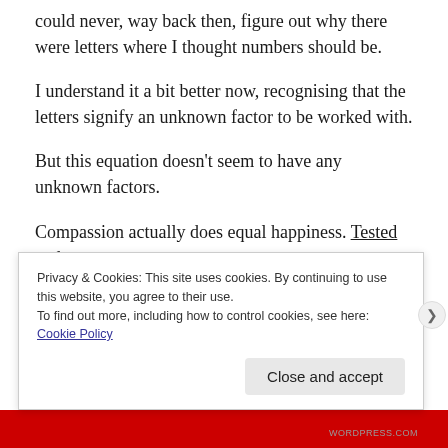could never, way back then, figure out why there were letters where I thought numbers should be.
I understand it a bit better now, recognising that the letters signify an unknown factor to be worked with.
But this equation doesn't seem to have any unknown factors.
Compassion actually does equal happiness. Tested and proven..
Privacy & Cookies: This site uses cookies. By continuing to use this website, you agree to their use. To find out more, including how to control cookies, see here: Cookie Policy
Close and accept